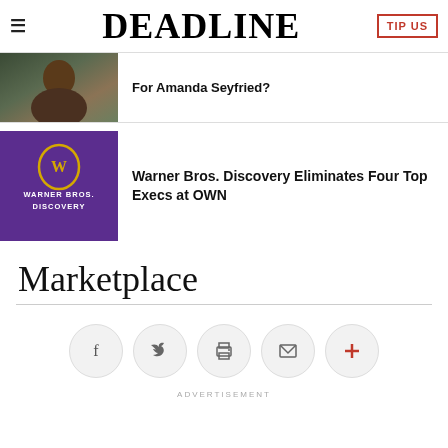DEADLINE
For Amanda Seyfried?
Warner Bros. Discovery Eliminates Four Top Execs at OWN
Marketplace
ADVERTISEMENT